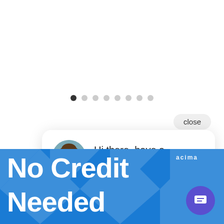[Figure (other): Pagination dots row: 8 dots, first one filled/active (dark), rest light gray]
close
[Figure (other): Chat popup bubble with avatar photo of woman and text: Hi there, have a question? Text us here.]
Hi there, have a question? Text us here.
PA
[Figure (other): Blue banner with large white bold text 'No Credit Needed', Acima logo top right, purple chat FAB button bottom right]